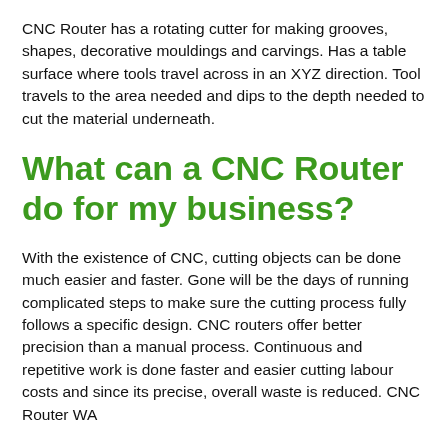CNC Router has a rotating cutter for making grooves, shapes, decorative mouldings and carvings. Has a table surface where tools travel across in an XYZ direction. Tool travels to the area needed and dips to the depth needed to cut the material underneath.
What can a CNC Router do for my business?
With the existence of CNC, cutting objects can be done much easier and faster. Gone will be the days of running complicated steps to make sure the cutting process fully follows a specific design. CNC routers offer better precision than a manual process. Continuous and repetitive work is done faster and easier cutting labour costs and since its precise, overall waste is reduced. CNC Router WA